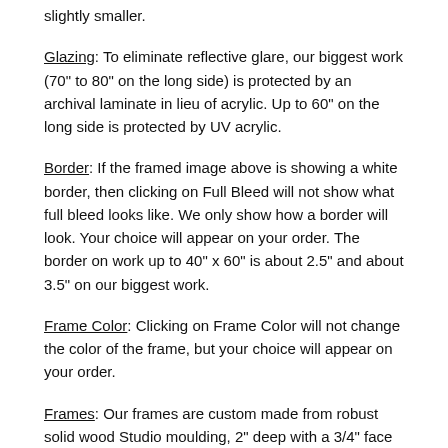slightly smaller.
Glazing: To eliminate reflective glare, our biggest work (70" to 80" on the long side) is protected by an archival laminate in lieu of acrylic. Up to 60" on the long side is protected by UV acrylic.
Border: If the framed image above is showing a white border, then clicking on Full Bleed will not show what full bleed looks like. We only show how a border will look. Your choice will appear on your order. The border on work up to 40" x 60" is about 2.5" and about 3.5" on our biggest work.
Frame Color: Clicking on Frame Color will not change the color of the frame, but your choice will appear on your order.
Frames: Our frames are custom made from robust solid wood Studio moulding, 2" deep with a 3/4" face width and joined at the corners with butterfly joints.